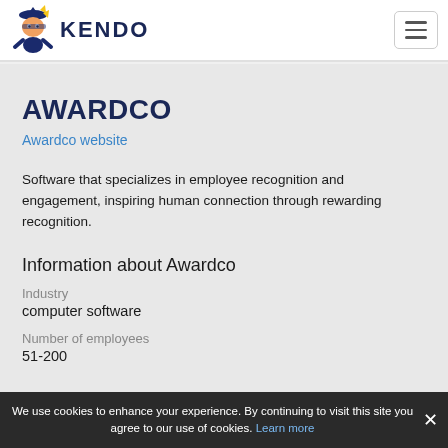KENDO
AWARDCO
Awardco website
Software that specializes in employee recognition and engagement, inspiring human connection through rewarding recognition.
Information about Awardco
Industry
computer software
Number of employees
51-200
We use cookies to enhance your experience. By continuing to visit this site you agree to our use of cookies. Learn more ×